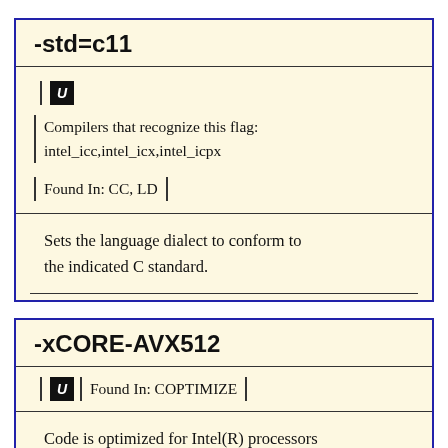-std=c11
U
Compilers that recognize this flag: intel_icc,intel_icx,intel_icpx
Found In: CC, LD
Sets the language dialect to conform to the indicated C standard.
-xCORE-AVX512
U  Found In: COPTIMIZE
Code is optimized for Intel(R) processors with support for CORE-AVX512